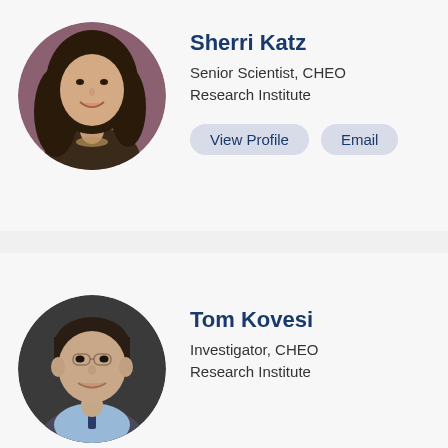[Figure (photo): Circular headshot photo of Sherri Katz, a woman with long dark hair, smiling, wearing a necklace, against a purple background.]
Sherri Katz
Senior Scientist, CHEO Research Institute
[Figure (photo): Circular headshot photo of Tom Kovesi, a man with short dark hair, smiling, wearing a light blue shirt and tie, against a dark background.]
Tom Kovesi
Investigator, CHEO Research Institute